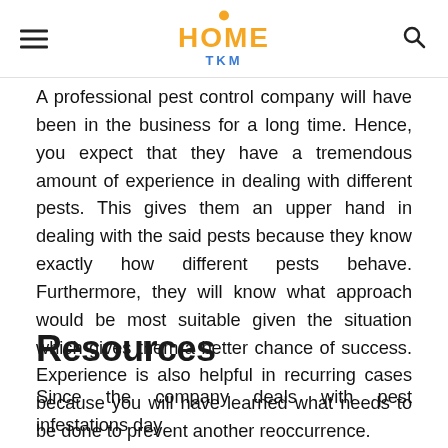HOME TKM
A professional pest control company will have been in the business for a long time. Hence, you expect that they have a tremendous amount of experience in dealing with different pests. This gives them an upper hand in dealing with the said pests because they know exactly how different pests behave. Furthermore, they will know what approach would be most suitable given the situation which gives them a better chance of success. Experience is also helpful in recurring cases because you will have learned what needs to be done to prevent another reoccurrence.
Resources
Since the company deals with pest infestations day